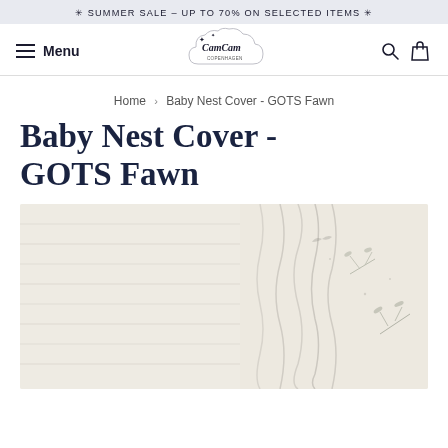✳ SUMMER SALE – UP TO 70% ON SELECTED ITEMS ✳
[Figure (screenshot): CamCam Copenhagen navigation bar with hamburger menu, logo, search and cart icons]
Home › Baby Nest Cover - GOTS Fawn
Baby Nest Cover - GOTS Fawn
[Figure (photo): Close-up photo of a cream/off-white baby nest cover fabric with delicate botanical embroidery details and ruching]